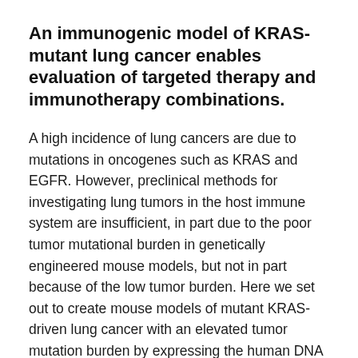An immunogenic model of KRAS-mutant lung cancer enables evaluation of targeted therapy and immunotherapy combinations.
A high incidence of lung cancers are due to mutations in oncogenes such as KRAS and EGFR. However, preclinical methods for investigating lung tumors in the host immune system are insufficient, in part due to the poor tumor mutational burden in genetically engineered mouse models, but not in part because of the low tumor burden. Here we set out to create mouse models of mutant KRAS-driven lung cancer with an elevated tumor mutation burden by expressing the human DNA cytosine deaminase, APOBEC3B, to match the mutational